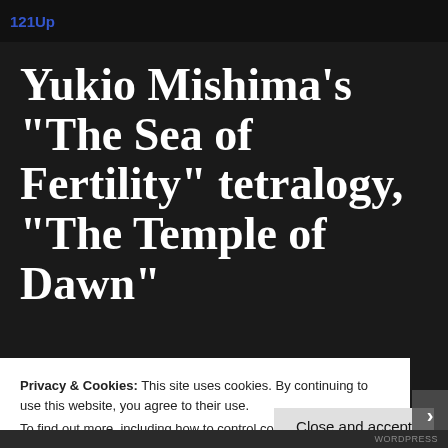121Up
Yukio Mishima’s “The Sea of Fertility” tetralogy, “The Temple of Dawn”
Posted on  15/10/2018  Standard  2
Privacy & Cookies: This site uses cookies. By continuing to use this website, you agree to their use.
To find out more, including how to control cookies, see here: Cookie Policy
Close and accept